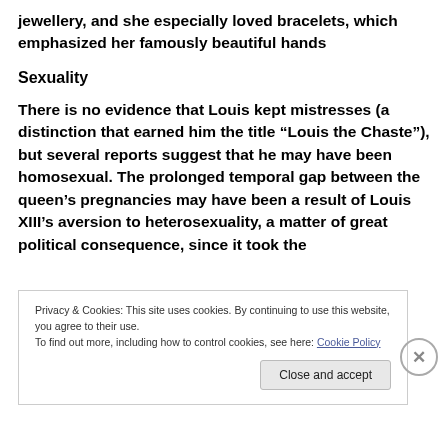jewellery, and she especially loved bracelets, which emphasized her famously beautiful hands
Sexuality
There is no evidence that Louis kept mistresses (a distinction that earned him the title “Louis the Chaste”), but several reports suggest that he may have been homosexual. The prolonged temporal gap between the queen’s pregnancies may have been a result of Louis XIII’s aversion to heterosexuality, a matter of great political consequence, since it took the
Privacy & Cookies: This site uses cookies. By continuing to use this website, you agree to their use.
To find out more, including how to control cookies, see here: Cookie Policy
Close and accept